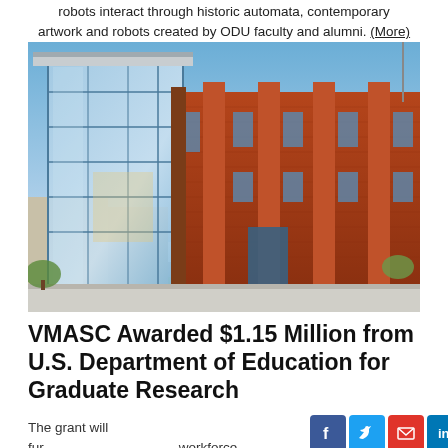robots interact through historic automata, contemporary artwork and robots created by ODU faculty and alumni. (More)
[Figure (photo): Exterior photo of a modern university building with glass facade and brick columns under a blue sky]
VMASC Awarded $1.15 Million from U.S. Department of Education for Graduate Research
The grant will fur workforce readiness projec (More)